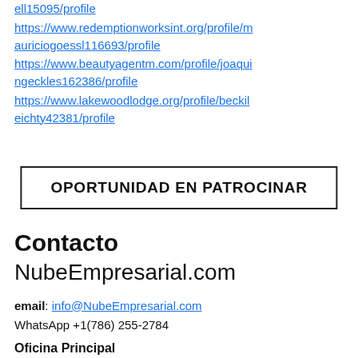ell15095/profile
https://www.redemptionworksint.org/profile/mauriciogoessl116693/profile
https://www.beautyagentm.com/profile/joaquingeckles162386/profile
https://www.lakewoodlodge.org/profile/beckileichty42381/profile
OPORTUNIDAD EN PATROCINAR
Contacto
NubeEmpresarial.com
email: info@NubeEmpresarial.com
WhatsApp +1(786) 255-2784
Oficina Principal